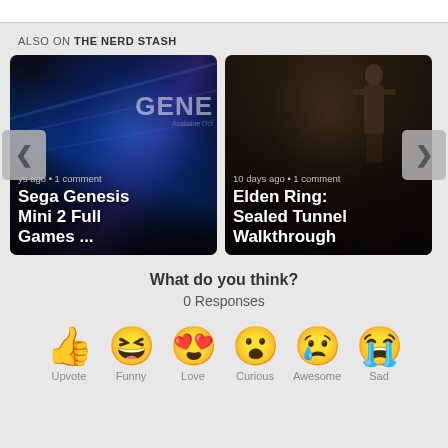ALSO ON THE NERD STASH
[Figure (screenshot): Card thumbnail for 'Sega Genesis Mini 2 Full Games ...' article showing blue glowing Sega Genesis hardware, with metadata 'days ago • 1 comment']
[Figure (screenshot): Card thumbnail for 'Elden Ring: Sealed Tunnel Walkthrough' article showing dark cave/tunnel with figure, with metadata '10 days ago • 1 comment']
What do you think?
0 Responses
[Figure (infographic): Row of six reaction emoji icons: thumbs up, laughing, love, surprised, sad, crying. Labels below partially visible: Upvote, Funny, Love, Curious, Awesome, Sad]